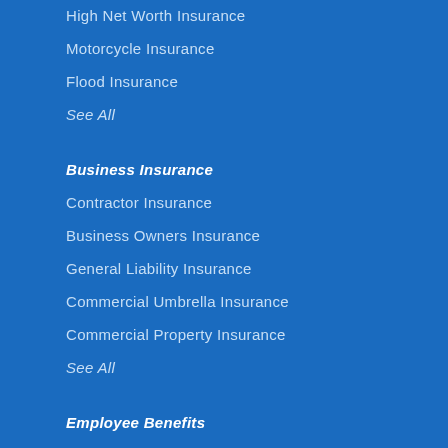High Net Worth Insurance
Motorcycle Insurance
Flood Insurance
See All
Business Insurance
Contractor Insurance
Business Owners Insurance
General Liability Insurance
Commercial Umbrella Insurance
Commercial Property Insurance
See All
Employee Benefits